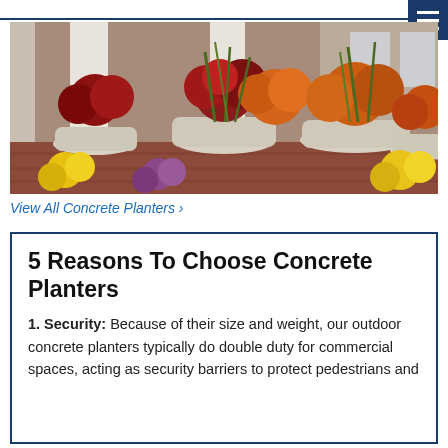[Figure (photo): Outdoor concrete planters filled with colorful autumn chrysanthemums — red, orange, yellow, and purple — arranged in front of a brick and white-column building facade.]
View All Concrete Planters ›
5 Reasons To Choose Concrete Planters
1. Security: Because of their size and weight, our outdoor concrete planters typically do double duty for commercial spaces, acting as security barriers to protect pedestrians and